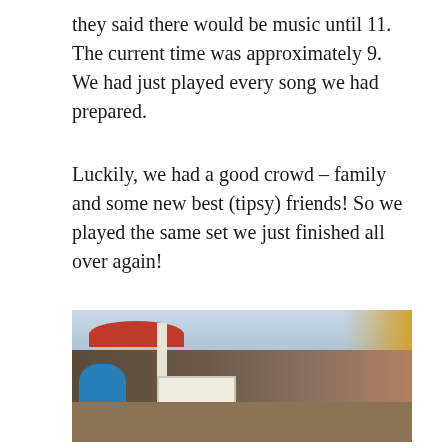they said there would be music until 11.  The current time was approximately 9.  We had just played every song we had prepared.
Luckily, we had a good crowd – family and some new best (tipsy) friends!  So we played the same set we just finished all over again!
[Figure (photo): Outdoor restaurant or bar patio scene at dusk/evening. People seated at tables on a wooden deck, a red patio umbrella visible on the left, a decorative white railing in the foreground, a person in a blue shirt on the far left, a crowd of people in the background on the right side under warm interior lighting, a white column visible, wooden plank flooring.]